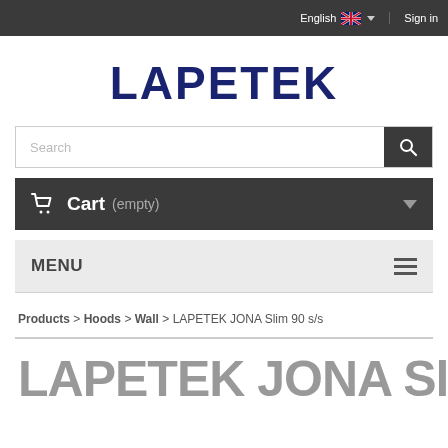English  Sign in
LAPETEK
Search
Cart (empty)
MENU
Products > Hoods > Wall > LAPETEK JONA Slim 90 s/s
LAPETEK JONA Slim 90